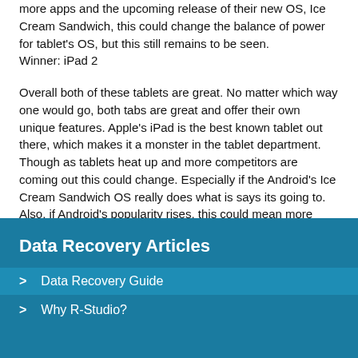more apps and the upcoming release of their new OS, Ice Cream Sandwich, this could change the balance of power for tablet's OS, but this still remains to be seen.
Winner: iPad 2
Overall both of these tablets are great. No matter which way one would go, both tabs are great and offer their own unique features. Apple's iPad is the best known tablet out there, which makes it a monster in the tablet department. Though as tablets heat up and more competitors are coming out this could change. Especially if the Android's Ice Cream Sandwich OS really does what is says its going to. Also, if Android's popularity rises, this could mean more apps, which at the moment hurts it. In the end Apple iPad 2 is the clear winner, but this could very well change later this year with the new OS from Android.
Data Recovery Articles
> Data Recovery Guide
> Why R-Studio?